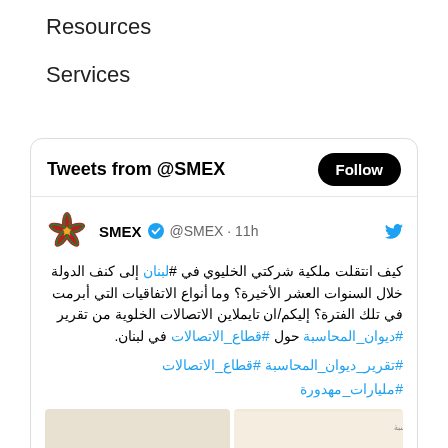Resources
Services
[Figure (screenshot): Twitter/X widget showing tweets from @SMEX. Contains a Follow button, a tweet in Arabic about mobile telecom companies in Lebanon transferring to state ownership, with hashtags #تقرير_ديوان_المحاسبة #قطاع_الاتصالات #مليارات_مهدورة, and a preview image at the bottom.]